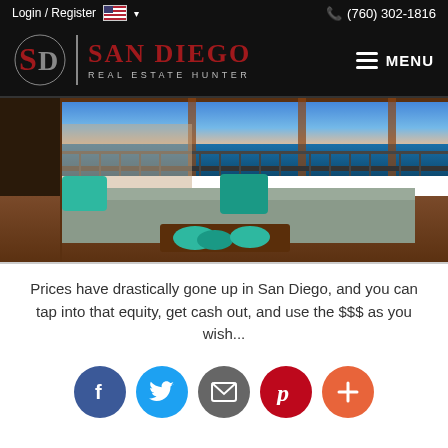Login / Register  🇺🇸 ▾   📞 (760) 302-1816
[Figure (logo): San Diego Real Estate Hunter logo — red SD monogram with vertical divider, red San Diego text and gray Real Estate Hunter subtitle on black background, with hamburger MENU on right]
[Figure (photo): Interior photo of a luxury oceanfront living room with a large sectional sofa, teal accent pillows, decorative teal bowls on a dark wood coffee table, floor-to-ceiling windows overlooking a balcony and ocean at dusk]
Prices have drastically gone up in San Diego, and you can tap into that equity, get cash out, and use the $$$ as you wish...
[Figure (infographic): Social share buttons row: Facebook (blue), Twitter (light blue), Email (dark gray), Pinterest (red), Plus/More (orange-red)]